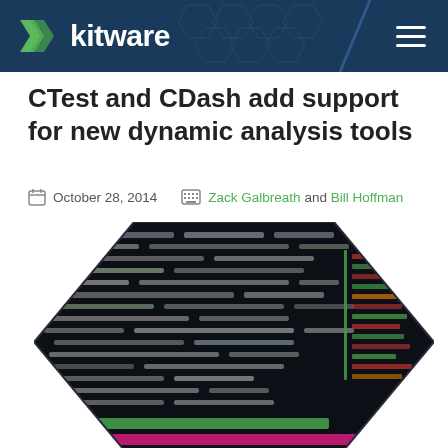Kitware
CTest and CDash add support for new dynamic analysis tools
October 28, 2014   Zack Galbreath and Bill Hoffman
[Figure (screenshot): Hexagon-clipped screenshot of a terminal/code editor showing colorful syntax-highlighted text with a green bottom bar and pink bar, suggesting a dynamic analysis output view.]